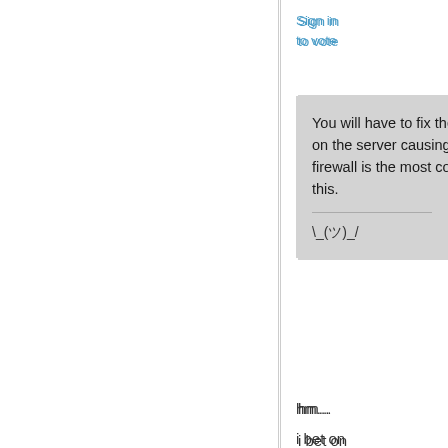Sign in
to vote
You will have to fix the WMI service on the server causing the error.  The firewall is the most common cause of this.
\_(ツ)_/
hm...
i bet on
[Figure (screenshot): Code snippet box showing: $dcs=(Get-ADForest).Domains | g]
The error he gets means the name is unrecognized/not reachable/etc.